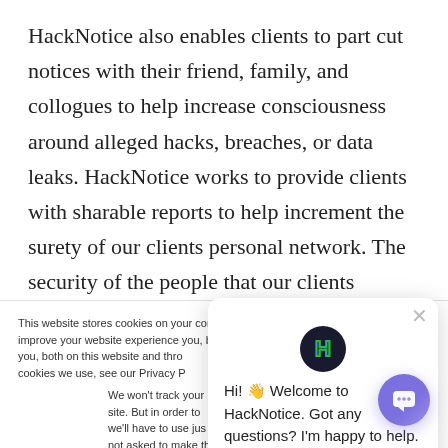HackNotice also enables clients to part cut notices with their friend, family, and collogues to help increase consciousness around alleged hacks, breaches, or data leaks. HackNotice works to provide clients with sharable reports to help increment the surety of our clients personal network. The security of the people that our clients interact with directly
This website stores cookies on your computer. These are used to improve your website experience you, both on this website and through cookies we use, see our Privacy P...
We won't track your site. But in order to we'll have to use jus not asked to make this choice again.
[Figure (screenshot): Chat widget panel with HackNotice logo (dark circle with green/blue H), close button (X), and message: Hi! Welcome to HackNotice. Got any questions? I'm happy to help.]
[Figure (screenshot): Purple circular chat bubble button in bottom right corner with white chat icon]